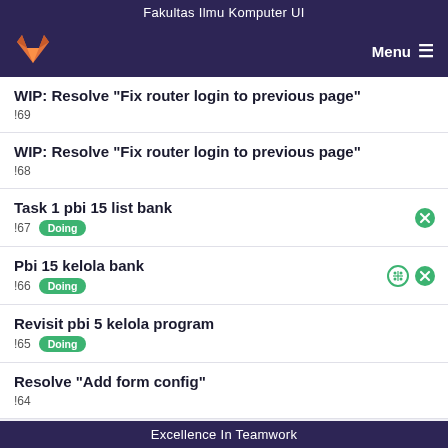Fakultas Ilmu Komputer UI
[Figure (logo): GitLab fox logo in orange on dark purple navigation bar with Menu hamburger icon on right]
WIP: Resolve "Fix router login to previous page"
!69
WIP: Resolve "Fix router login to previous page"
!68
Task 1 pbi 15 list bank
!67  Doing
Pbi 15 kelola bank
!66  Doing
Revisit pbi 5 kelola program
!65  Doing
Resolve "Add form config"
!64
Excellence In Teamwork